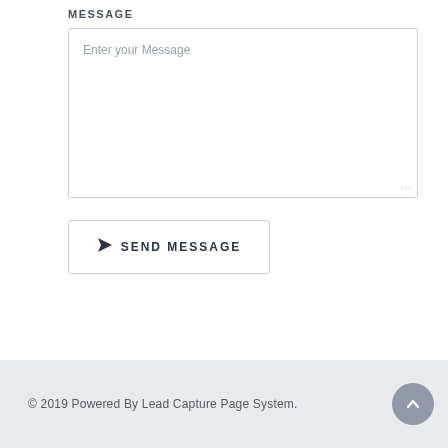MESSAGE
[Figure (screenshot): Textarea input field with placeholder text 'Enter your Message']
[Figure (screenshot): Send message button with paper plane icon and text 'SEND MESSAGE']
© 2019 Powered By Lead Capture Page System.